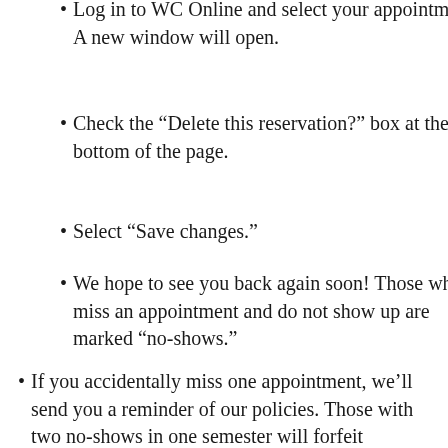Log in to WC Online and select your appointment. A new window will open.
Check the “Delete this reservation?” box at the bottom of the page.
Select “Save changes.”
We hope to see you back again soon! Those who miss an appointment and do not show up are marked “no-shows.”
If you accidentally miss one appointment, we’ll send you a reminder of our policies. Those with two no-shows in one semester will forfeit appointment privileges for the